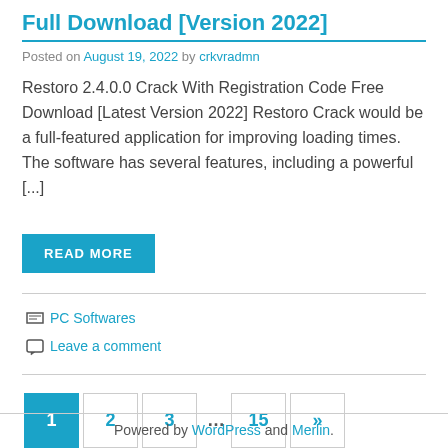Full Download [Version 2022]
Posted on August 19, 2022 by crkvradmn
Restoro 2.4.0.0 Crack With Registration Code Free Download [Latest Version 2022] Restoro Crack would be a full-featured application for improving loading times. The software has several features, including a powerful [...]
READ MORE
PC Softwares
Leave a comment
1 2 3 … 15 »
Powered by WordPress and Merlin.